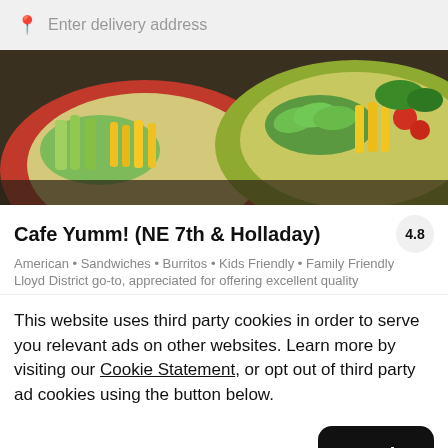Enter delivery address
[Figure (photo): Two colorful plates of food with vegetables, cheese, avocado, and garnishes on a dark background]
Cafe Yumm! (NE 7th & Holladay)
4.8
American • Sandwiches • Burritos • Kids Friendly • Family Friendly
Lloyd District go-to, appreciated for offering excellent quality
This website uses third party cookies in order to serve you relevant ads on other websites. Learn more by visiting our Cookie Statement, or opt out of third party ad cookies using the button below.
Opt out
Got it